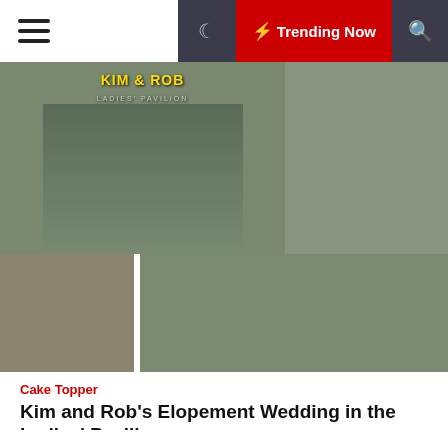☰  🌙  ⚡ Trending Now  🔍
[Figure (photo): Four-panel wedding photo collage showing Kim and Rob at Ladies' Pavilion and Brooklyn Bridge area. Top left: couple in wedding attire under iron gate arch with KIM & ROB LADIES' PAVILION text. Top right: couple walking near bridge with yellow taxi. Bottom left: couple with yellow cab. Bottom right: couple near iron fence with greenery.]
Cake Topper
Kim and Rob's Elopement Wedding in the Ladies' Pavilion
We use cookies on our website to give you the most relevant experience by remembering your preferences and repeat visits. By clicking "Accept All", you consent to the use of ALL the cookies. However, you may visit "Cookie Settings" to provide a controlled consent.
Cookie Settings   Accept All